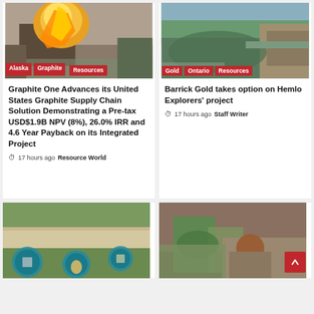[Figure (photo): Fire burning outdoors in snowy/industrial setting - Alaska graphite resources]
Alaska | Graphite | Resources
Graphite One Advances its United States Graphite Supply Chain Solution Demonstrating a Pre-tax USD$1.9B NPV (8%), 26.0% IRR and 4.6 Year Payback on its Integrated Project
17 hours ago  Resource World
[Figure (photo): Aerial view of Ontario gold mine near river]
Gold | Ontario | Resources
Barrick Gold takes option on Hemlo Explorers' project
17 hours ago  Staff Writer
[Figure (photo): Aerial landscape with forest and sand, infographic circles overlaid]
[Figure (photo): People looking at documents/cores in an outdoor structure]